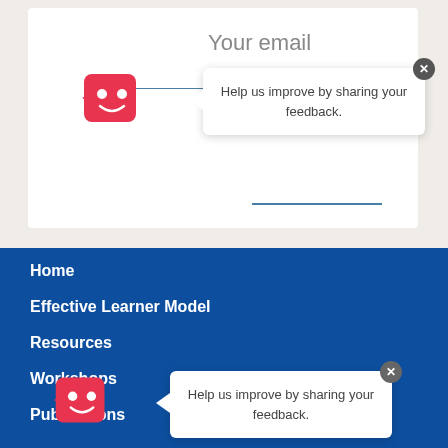[Figure (screenshot): Email input field with 'Your email' label and a horizontal blue underline input line inside a white card on a beige background. A red smiling mascot icon appears to the left. A tooltip popup says 'Help us improve by sharing your feedback.' with a close X button.]
Help us improve by sharing your feedback.
Home
Effective Learner Model
Resources
Workshops
Publications
Help us improve by sharing your feedback.